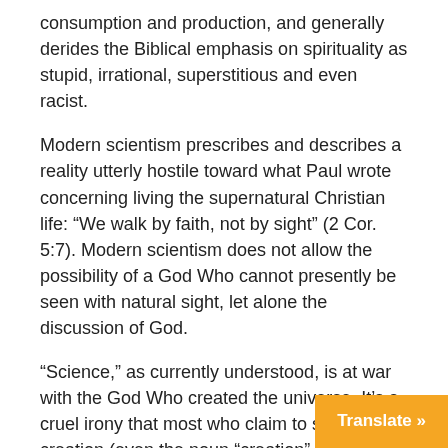consumption and production, and generally derides the Biblical emphasis on spirituality as stupid, irrational, superstitious and even racist.
Modern scientism prescribes and describes a reality utterly hostile toward what Paul wrote concerning living the supernatural Christian life: “We walk by faith, not by sight” (2 Cor. 5:7). Modern scientism does not allow the possibility of a God Who cannot presently be seen with natural sight, let alone the discussion of God.
“Science,” as currently understood, is at war with the God Who created the universe. It’s a cruel irony that most who claim to study creation (even the noun “creation” is not an approved construct) order their enterprises in such a way as to blind themselves to their Creator. Paul wrote of this syndrome to Roman believers:
“For [God does not overlook sin and] the wrath of God is revealed from heaven against all ungodlin… unrighteousness of men who in their wicke…
Translate »